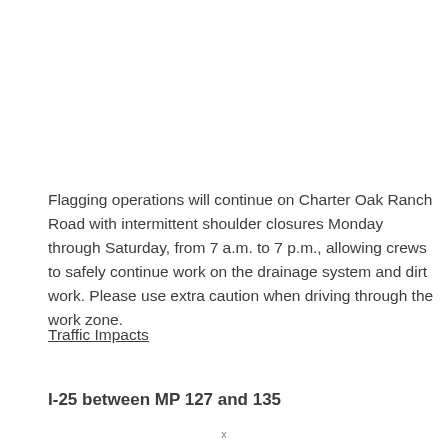Flagging operations will continue on Charter Oak Ranch Road with intermittent shoulder closures Monday through Saturday, from 7 a.m. to 7 p.m., allowing crews to safely continue work on the drainage system and dirt work. Please use extra caution when driving through the work zone.
Traffic Impacts
I-25 between MP 127 and 135